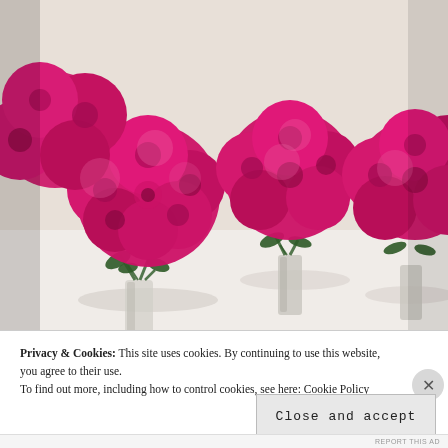[Figure (photo): Three bouquets of bright pink/magenta roses in clear glass vases arranged on a white surface, photographed against a light background.]
Privacy & Cookies: This site uses cookies. By continuing to use this website, you agree to their use.
To find out more, including how to control cookies, see here: Cookie Policy
Close and accept